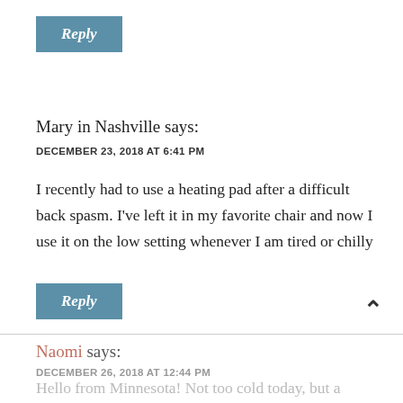[Figure (other): Reply button - teal/steel blue button with italic Reply text]
Mary in Nashville says:
DECEMBER 23, 2018 AT 6:41 PM
I recently had to use a heating pad after a difficult back spasm. I’ve left it in my favorite chair and now I use it on the low setting whenever I am tired or chilly
[Figure (other): Reply button - teal/steel blue button with italic Reply text]
Naomi says:
DECEMBER 26, 2018 AT 12:44 PM
Hello from Minnesota! Not too cold today, but a